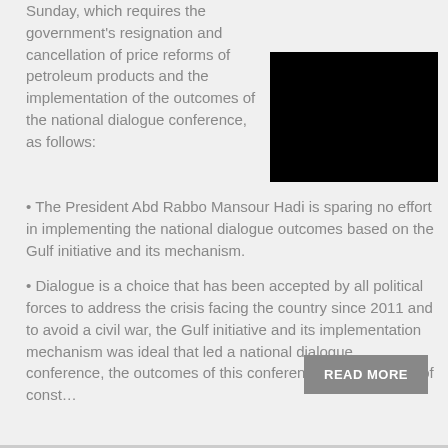Sunday, which requires the government's resignation and cancellation of price reforms of petroleum products and the implementation of the outcomes of the national dialogue conference, as follows:
[Figure (photo): Black redacted image]
• The President Abd Rabbo Mansour Hadi is sparing no effort in implementing the national dialogue outcomes based on the Gulf initiative and its mechanism.
• Dialogue is a choice that has been accepted by all political forces to address the crisis facing the country since 2011 and to avoid a civil war, the Gulf initiative and its implementation mechanism was ideal that led a national dialogue conference, the outcomes of this conference trace the path of const…
READ MORE